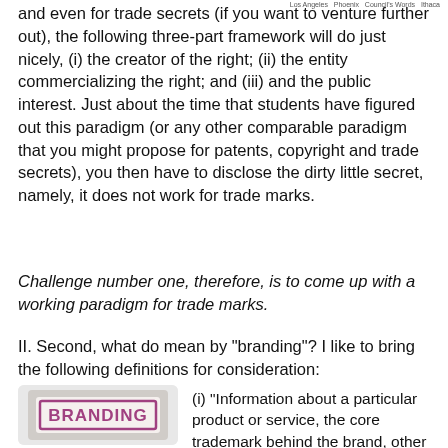Los Angeles  Phoenix  Council's Words  Ithaca
and even for trade secrets (if you want to venture further out), the following three-part framework will do just nicely, (i) the creator of the right; (ii) the entity commercializing the right; and (iii) and the public interest. Just about the time that students have figured out this paradigm (or any other comparable paradigm that you might propose for patents, copyright and trade secrets), you then have to disclose the dirty little secret, namely, it does not work for trade marks.
Challenge number one, therefore, is to come up with a working paradigm for trade marks.
II. Second, what do mean by "branding"? I like to bring the following definitions for consideration:
[Figure (photo): A rubber stamp with the word BRANDING printed in pink/magenta ink, held by a hand, with small caption text below.]
(i) "Information about a particular product or service, the core trademark behind the brand, other trademark supporting the brand, any